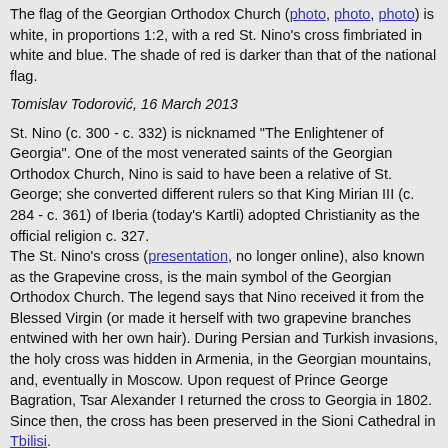The flag of the Georgian Orthodox Church (photo, photo, photo) is white, in proportions 1:2, with a red St. Nino's cross fimbriated in white and blue. The shade of red is darker than that of the national flag.
Tomislav Todorović, 16 March 2013
St. Nino (c. 300 - c. 332) is nicknamed "The Enlightener of Georgia". One of the most venerated saints of the Georgian Orthodox Church, Nino is said to have been a relative of St. George; she converted different rulers so that King Mirian III (c. 284 - c. 361) of Iberia (today's Kartli) adopted Christianity as the official religion c. 327.
The St. Nino's cross (presentation, no longer online), also known as the Grapevine cross, is the main symbol of the Georgian Orthodox Church. The legend says that Nino received it from the Blessed Virgin (or made it herself with two grapevine branches entwined with her own hair). During Persian and Turkish invasions, the holy cross was hidden in Armenia, in the Georgian mountains, and, eventually in Moscow. Upon request of Prince George Bagration, Tsar Alexander I returned the cross to Georgia in 1802. Since then, the cross has been preserved in the Sioni Cathedral in Tbilisi.
Ivan Sache, 2 June 2012